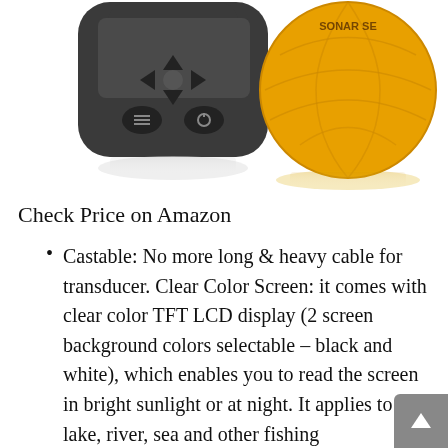[Figure (photo): Product photo showing two items: a dark grey fish finder remote/display unit on the left with directional buttons and power button, and a round yellow sonar sensor on the right with partial text 'SONAR SE...' visible at the top. Both items have reflections beneath them on a white background.]
Check Price on Amazon
Castable: No more long & heavy cable for transducer. Clear Color Screen: it comes with clear color TFT LCD display (2 screen background colors selectable – black and white), which enables you to read the screen in bright sunlight or at night. It applies to lake, river, sea and other fishing